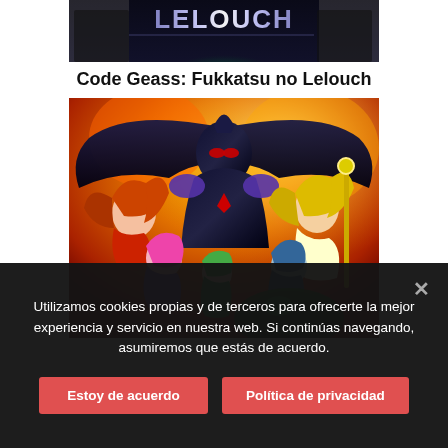[Figure (illustration): Top portion of anime movie poster for Code Geass: Fukkatsu no Lelouch, showing upper section with dark background and glowing green light]
Code Geass: Fukkatsu no Lelouch
[Figure (illustration): Main anime movie poster for Code Geass: Fukkatsu no Lelouch showing armored villain character in center with wings, surrounded by female anime characters in colorful costumes with fiery background]
Utilizamos cookies propias y de terceros para ofrecerte la mejor experiencia y servicio en nuestra web. Si continúas navegando, asumiremos que estás de acuerdo.
Estoy de acuerdo
Política de privacidad